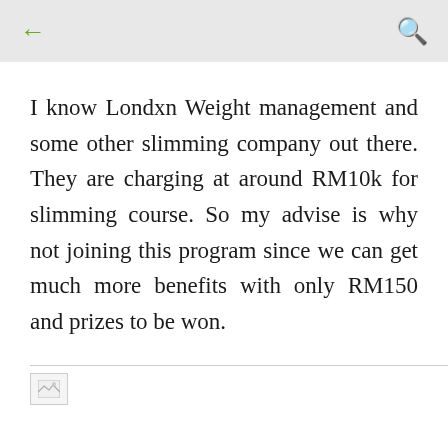← (back) | (search icon)
I know Londxn Weight management and some other slimming company out there. They are charging at around RM10k for slimming course. So my advise is why not joining this program since we can get much more benefits with only RM150 and prizes to be won.
[Figure (other): Small broken image placeholder at the bottom of the page]